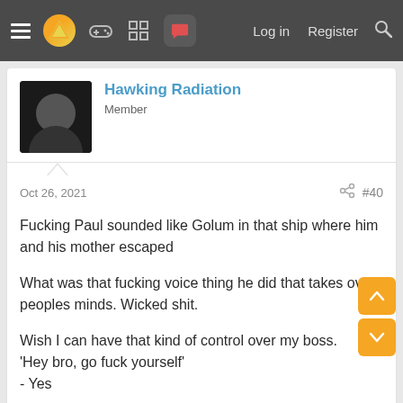Navigation bar with hamburger menu, logo, game controller icon, grid icon, chat icon (active), Log in, Register, Search
Hawking Radiation
Member
Oct 26, 2021  #40
Fucking Paul sounded like Golum in that ship where him and his mother escaped

What was that fucking voice thing he did that takes over peoples minds. Wicked shit.

Wish I can have that kind of control over my boss.
'Hey bro, go fuck yourself'
- Yes
BadBurger